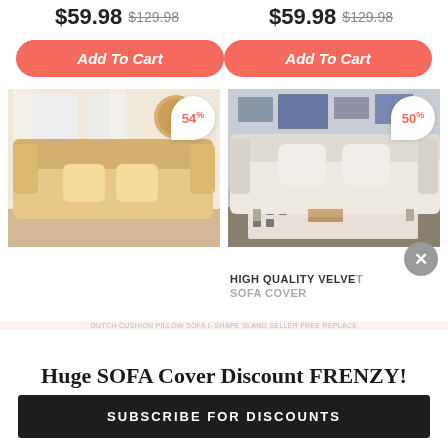$59.98 $129.98 | $59.98 $129.98
Add To Cart | Add To Cart
[Figure (photo): Beige/cream colored sofa with two cushions, light background, 54% discount badge]
[Figure (photo): White/cream modern sofa in living room setting with patterned rug, 50% discount badge]
HIGH QUALITY VELVET SOFA COVER
Huge SOFA Cover Discount FRENZY!
SUBSCRIBE FOR DISCOUNTS